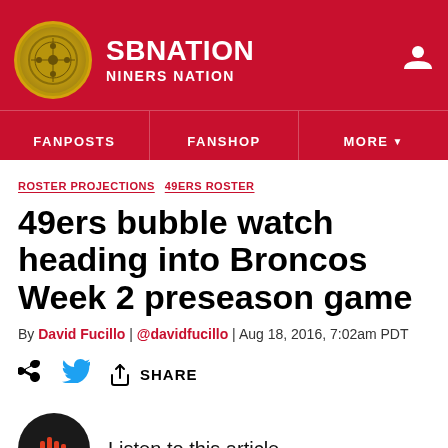SB NATION | NINERS NATION
FANPOSTS | FANSHOP | MORE
ROSTER PROJECTIONS  49ERS ROSTER
49ers bubble watch heading into Broncos Week 2 preseason game
By David Fucillo | @davidfucillo | Aug 18, 2016, 7:02am PDT
SHARE
Listen to this article